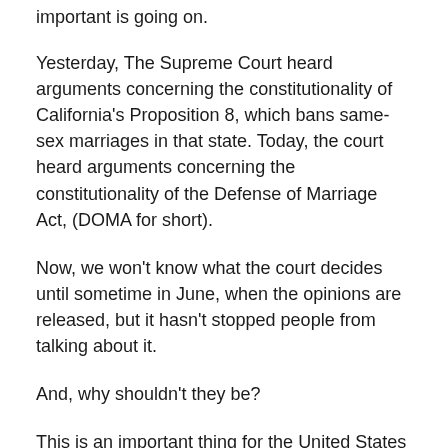important is going on.
Yesterday, The Supreme Court heard arguments concerning the constitutionality of California's Proposition 8, which bans same-sex marriages in that state. Today, the court heard arguments concerning the constitutionality of the Defense of Marriage Act, (DOMA for short).
Now, we won't know what the court decides until sometime in June, when the opinions are released, but it hasn't stopped people from talking about it.
And, why shouldn't they be?
This is an important thing for the United States of America; an important moment. This is one of those moments where we get the chance to stand up and show with our actions that we really mean what we say with our words.